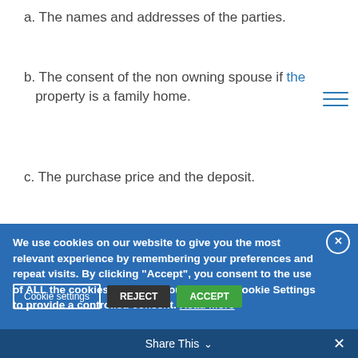a. The names and addresses of the parties.
b. The consent of the non owning spouse if the property is a family home.
c. The purchase price and the deposit.
d. The closing date. This is the date when the transaction is completed, the purchaser pays over the purchase money and receives vacant possession of the property.
We use cookies on our website to give you the most relevant experience by remembering your preferences and repeat visits. By clicking “Accept”, you consent to the use of ALL the cookies. However you may visit Cookie Settings to provide a controlled consent. Read More
Cookie settings | REJECT | ACCEPT
Share This